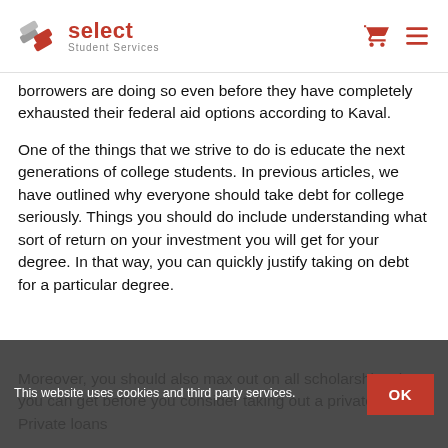select Student Services
borrowers are doing so even before they have completely exhausted their federal aid options according to Kaval.
One of the things that we strive to do is educate the next generations of college students. In previous articles, we have outlined why everyone should take debt for college seriously. Things you should do include understanding what sort of return on your investment you will get for your degree. In that way, you can quickly justify taking on debt for a particular degree.
Moreover, you should also max out on all scholarships that you can get before you consider taking out a private loan. Private loans
This website uses cookies and third party services.
OK